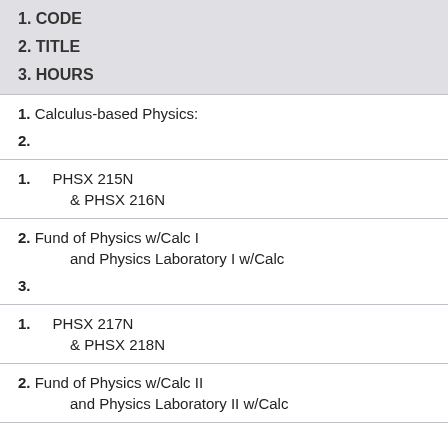1. CODE
2. TITLE
3. HOURS
1. Calculus-based Physics:
2.
1. PHSX 215N
   & PHSX 216N
2. Fund of Physics w/Calc I
   and Physics Laboratory I w/Calc
3.
1. PHSX 217N
   & PHSX 218N
2. Fund of Physics w/Calc II
   and Physics Laboratory II w/Calc